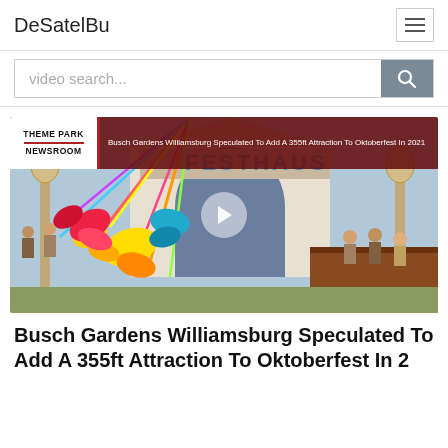DeSatelBu
[Figure (screenshot): Navigation bar with DeSatelBu brand name and hamburger menu icon]
[Figure (screenshot): Search bar with placeholder text 'video search...' and a search button with magnifying glass icon]
[Figure (screenshot): Video thumbnail showing Theme Park Newsroom banner over a photo of Busch Gardens Williamsburg with colorful butterfly decorations and Festhaus building. Overlay text: 'Busch Gardens Williamsburg Speculated To Add A 355ft Attraction To Oktoberfest In 2021'. Play button in center.]
Busch Gardens Williamsburg Speculated To Add A 355ft Attraction To Oktoberfest In 2